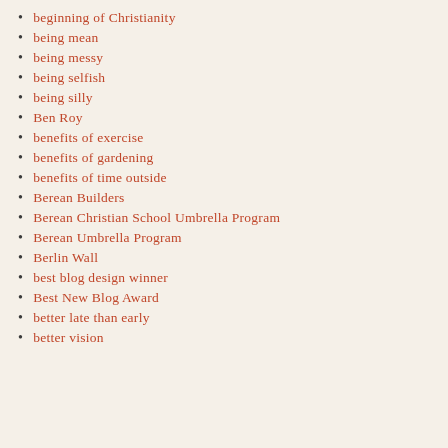beginning of Christianity
being mean
being messy
being selfish
being silly
Ben Roy
benefits of exercise
benefits of gardening
benefits of time outside
Berean Builders
Berean Christian School Umbrella Program
Berean Umbrella Program
Berlin Wall
best blog design winner
Best New Blog Award
better late than early
better vision